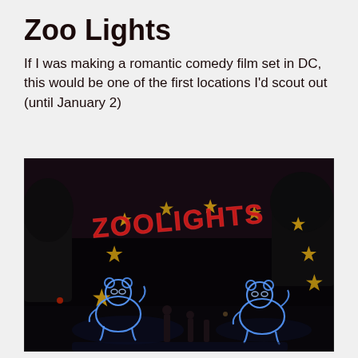Zoo Lights
If I was making a romantic comedy film set in DC, this would be one of the first locations I'd scout out (until January 2)
[Figure (photo): Nighttime photo of the Zoo Lights display at a zoo entrance, featuring a large arch of lights spelling 'ZOOLIGHTS' in red with gold star decorations, and two illuminated blue panda bear light sculptures flanking the entrance. The background is dark night sky with silhouettes of trees and people.]